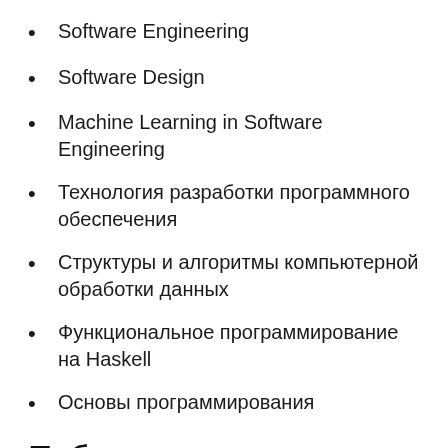Software Engineering
Software Design
Machine Learning in Software Engineering
Технология разработки программного обеспечения
Структуры и алгоритмы компьютерной обработки данных
Функциональное программирование на Haskell
Основы программирования
Публикации